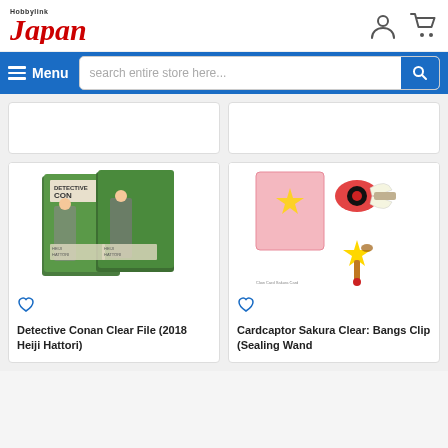[Figure (logo): HobbyLink Japan logo with red italic text]
[Figure (infographic): Navigation bar with hamburger menu, search bar, and search button]
[Figure (photo): Partial product cards visible at top]
[Figure (photo): Detective Conan Clear File (2018 Heiji Hattori) product image showing two green clear files with anime characters]
Detective Conan Clear File (2018 Heiji Hattori)
[Figure (photo): Cardcaptor Sakura Clear: Bangs Clip (Sealing Wand) product image showing hair clips shaped like the Sealing Wand]
Cardcaptor Sakura Clear: Bangs Clip (Sealing Wand